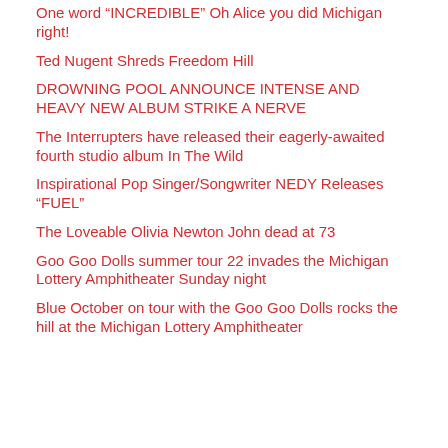One word “INCREDIBLE” Oh Alice you did Michigan right!
Ted Nugent Shreds Freedom Hill
DROWNING POOL ANNOUNCE INTENSE AND HEAVY NEW ALBUM STRIKE A NERVE
The Interrupters have released their eagerly-awaited fourth studio album In The Wild
Inspirational Pop Singer/Songwriter NEDY Releases “FUEL”
The Loveable Olivia Newton John dead at 73
Goo Goo Dolls summer tour 22 invades the Michigan Lottery Amphitheater Sunday night
Blue October on tour with the Goo Goo Dolls rocks the hill at the Michigan Lottery Amphitheater